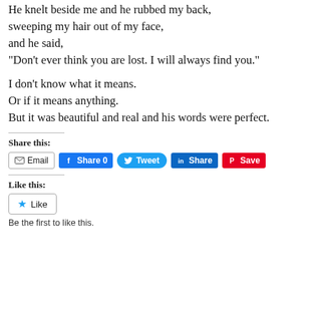He knelt beside me and he rubbed my back,
sweeping my hair out of my face,
and he said,
"Don't ever think you are lost. I will always find you."

I don't know what it means.
Or if it means anything.
But it was beautiful and real and his words were perfect.
Share this:
Like this:
Be the first to like this.